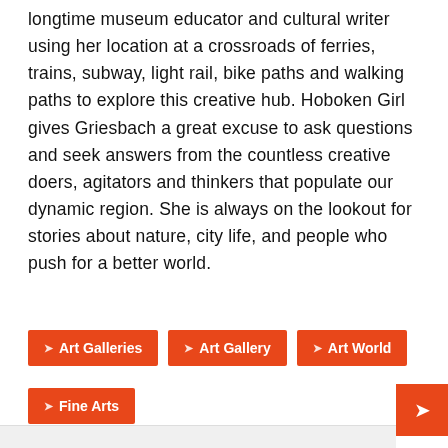longtime museum educator and cultural writer using her location at a crossroads of ferries, trains, subway, light rail, bike paths and walking paths to explore this creative hub. Hoboken Girl gives Griesbach a great excuse to ask questions and seek answers from the countless creative doers, agitators and thinkers that populate our dynamic region. She is always on the lookout for stories about nature, city life, and people who push for a better world.
Art Galleries
Art Gallery
Art World
Fine Arts